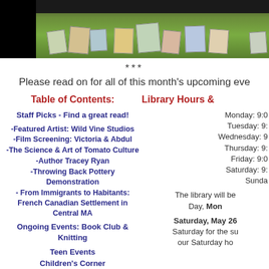[Figure (photo): Photo of books displayed on a green table at a library book display, showing various book covers spread across the surface.]
***
Please read on for all of this month's upcoming eve
Table of Contents:
Library Hours &
Staff Picks - Find a great read!
-Featured Artist: Wild Vine Studios
-Film Screening: Victoria & Abdul
-The Science & Art of Tomato Culture
-Author Tracey Ryan
-Throwing Back Pottery Demonstration
- From Immigrants to Habitants: French Canadian Settlement in Central MA
Ongoing Events: Book Club & Knitting
Teen Events
Children's Corner
Monday: 9:0
Tuesday: 9:
Wednesday: 9
Thursday: 9:
Friday: 9:0
Saturday: 9:
Sunda
The library will be Day, Mon
Saturday, May 26
Saturday for the su our Saturday ho